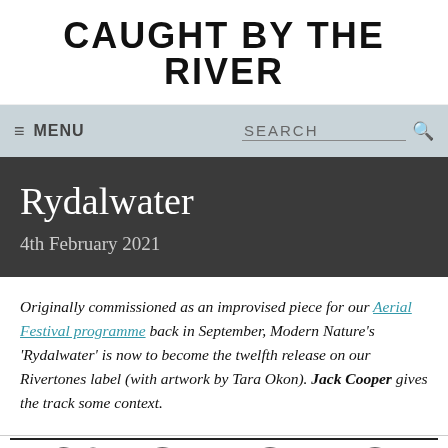CAUGHT BY THE RIVER
≡ MENU   SEARCH
Rydalwater
4th February 2021
Originally commissioned as an improvised piece for our Aerial Festival programme back in September, Modern Nature's 'Rydalwater' is now to become the twelfth release on our Rivertones label (with artwork by Tara Okon). Jack Cooper gives the track some context.
[Figure (illustration): Black and white illustration showing detailed nature/wildlife artwork at the bottom of the page]